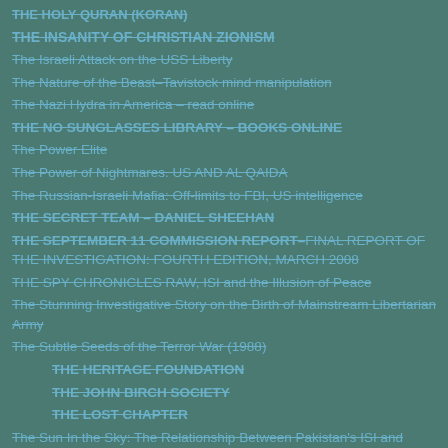THE HOLY QURAN (KORAN)
THE INSANITY OF CHRISTIAN ZIONISM
The Israeli Attack on the USS Liberty
The Nature of the Tavistock mind manipulation
The Nazi Hydra in America – read online
THE NO SUNGLASSES LIBRARY – BOOKS ONLINE
The Power Elite
The Power of Nightmares. US AND AL QAIDA
The Russian-Israeli Mafia: Off-limits to FBI, US intelligence
THE SECRET TEAM – DANIEL SHEEHAN
THE SEPTEMBER 11 COMMISSION REPORT–Final Report of the Investigation: Fourth Edition, March 2008
THE SPY CHRONICLES RAW, ISI and the Illusion of Peace
The Stunning Investigative Story on the Birth of Mainstream Libertarian Army
The Subtle Seeds of the Terror War (1988)
THE HERITAGE FOUNDATION
THE JOHN BIRCH SOCIETY
THE LOST CHAPTER
The Sun In the Sky: The Relationship Between Pakistan's ISI and